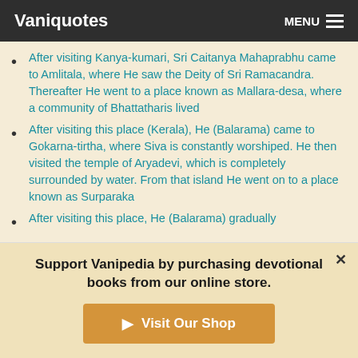Vaniquotes  MENU
After visiting Kanya-kumari, Sri Caitanya Mahaprabhu came to Amlitala, where He saw the Deity of Sri Ramacandra. Thereafter He went to a place known as Mallara-desa, where a community of Bhattatharis lived
After visiting this place (Kerala), He (Balarama) came to Gokarna-tirtha, where Siva is constantly worshiped. He then visited the temple of Aryadevi, which is completely surrounded by water. From that island He went on to a place known as Surparaka
After visiting this place, He (Balarama) gradually
Support Vanipedia by purchasing devotional books from our online store.
Visit Our Shop